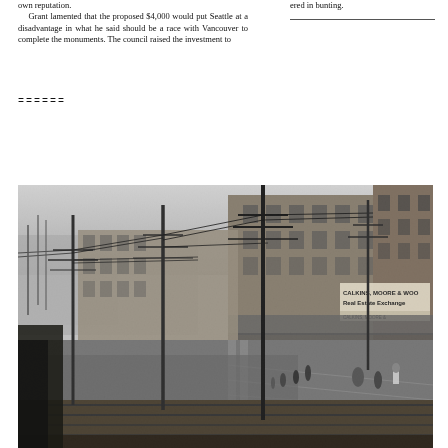own reputation.
    Grant lamented that the proposed $4,000 would put Seattle at a disadvantage in what he said should be a race with Vancouver to complete the monuments. The council raised the investment to
ered in bunting.
======
[Figure (photo): Black and white historical photograph of a Seattle street scene, likely late 19th century. Shows a wide street with wooden sidewalks and muddy road surface. Tall Victorian-era brick commercial buildings line the right side of the street. Visible signage reads 'CALKINS, MOORE & WOOD Real Estate Exchange'. Numerous telegraph/telephone poles line both sides of the street. The perspective looks down the street from an elevated position. Foreground shows wooden planks or bridge structure.]